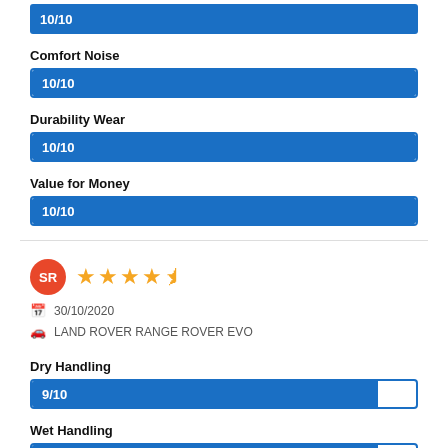[Figure (bar-chart): Top bar 10/10]
Comfort Noise
[Figure (bar-chart): Comfort Noise]
Durability Wear
[Figure (bar-chart): Durability Wear]
Value for Money
[Figure (bar-chart): Value for Money]
SR — 30/10/2020 — LAND ROVER RANGE ROVER EVO — 3.5 stars
Dry Handling
[Figure (bar-chart): Dry Handling]
Wet Handling
[Figure (bar-chart): Wet Handling]